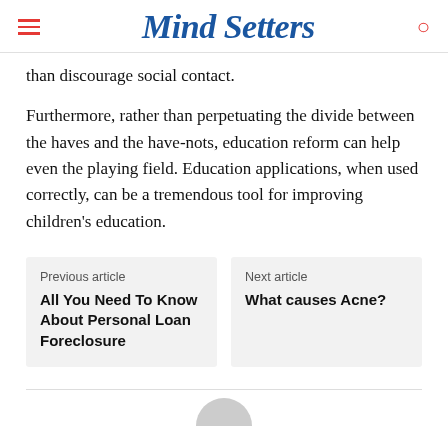Mind Setters
than discourage social contact.
Furthermore, rather than perpetuating the divide between the haves and the have-nots, education reform can help even the playing field. Education applications, when used correctly, can be a tremendous tool for improving children's education.
Previous article
All You Need To Know About Personal Loan Foreclosure
Next article
What causes Acne?